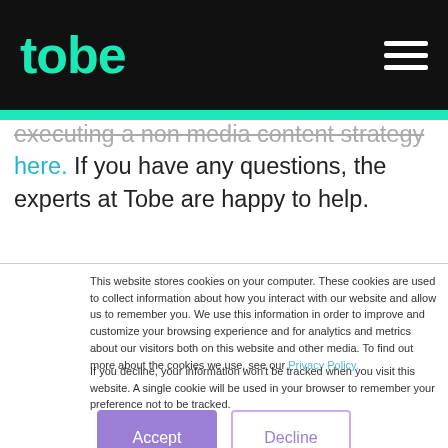tobe
executing a non media content strategy here. If you have any questions, the experts at Tobe are happy to help.
This website stores cookies on your computer. These cookies are used to collect information about how you interact with our website and allow us to remember you. We use this information in order to improve and customize your browsing experience and for analytics and metrics about our visitors both on this website and other media. To find out more about the cookies we use, see our Privacy Policy.
If you decline, your information won’t be tracked when you visit this website. A single cookie will be used in your browser to remember your preference not to be tracked.